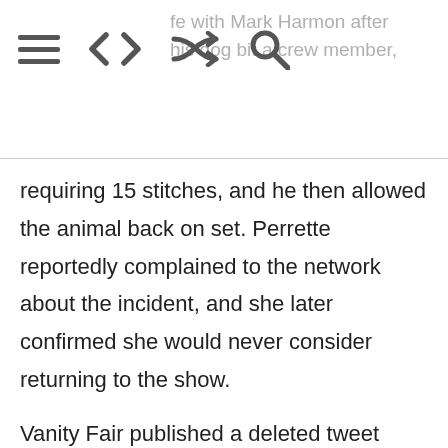fe with Mark Harmon after his dog bit a crew member,
requiring 15 stitches, and he then allowed the animal back on set. Perrette reportedly complained to the network about the incident, and she later confirmed she would never consider returning to the show.
Vanity Fair published a deleted tweet from Perrette in which she claimed she was “physically assaulted” and “lost [her] job” after